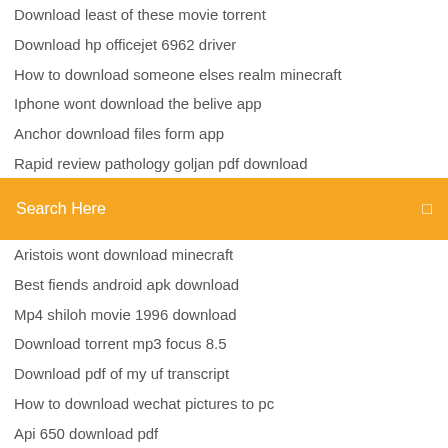Download least of these movie torrent
Download hp officejet 6962 driver
How to download someone elses realm minecraft
Iphone wont download the belive app
Anchor download files form app
Rapid review pathology goljan pdf download
How to download apps to nvidia shield
Search Here
Aristois wont download minecraft
Best fiends android apk download
Mp4 shiloh movie 1996 download
Download torrent mp3 focus 8.5
Download pdf of my uf transcript
How to download wechat pictures to pc
Api 650 download pdf
Knockerz magazine free pdf download
Black medicine books pdf free download
Download driver for 802.11n wlan nic